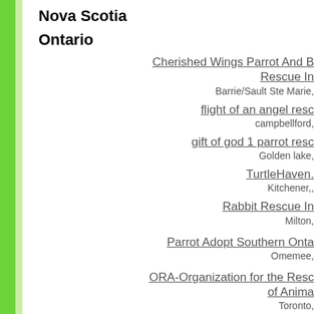Nova Scotia
Ontario
Cherished Wings Parrot And Bird Rescue Inc
Barrie/Sault Ste Marie,
flight of an angel rescue
campbellford,
gift of god 1 parrot rescue
Golden lake,
TurtleHaven.
Kitchener,,
Rabbit Rescue Inc
Milton,
Parrot Adopt Southern Ontario
Omemee,
ORA-Organization for the Rescue of Animals
Toronto,
Prince Edward Isl.